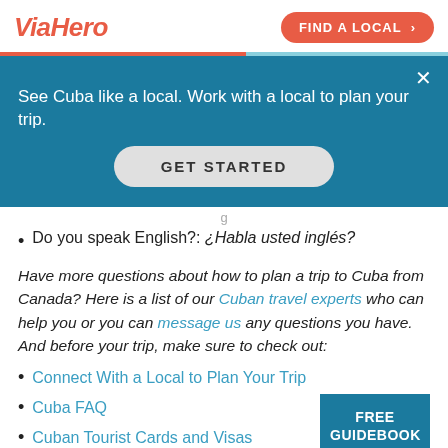ViaHero | FIND A LOCAL >
[Figure (screenshot): ViaHero website header with logo and Find a Local button]
See Cuba like a local. Work with a local to plan your trip.
GET STARTED
Do you speak English?: ¿Habla usted inglés?
Have more questions about how to plan a trip to Cuba from Canada? Here is a list of our Cuban travel experts who can help you or you can message us any questions you have. And before your trip, make sure to check out:
Connect With a Local to Plan Your Trip
Cuba FAQ
Cuban Tourist Cards and Visas
FREE GUIDEBOOK